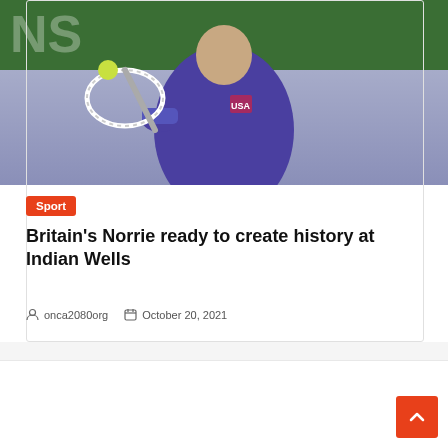[Figure (photo): Tennis player in purple outfit hitting a ball with a racket, action shot at Indian Wells]
Sport
Britain's Norrie ready to create history at Indian Wells
onca2080org   October 20, 2021
Recent Posts
For The Most Up-to-date Knowledge About Cell